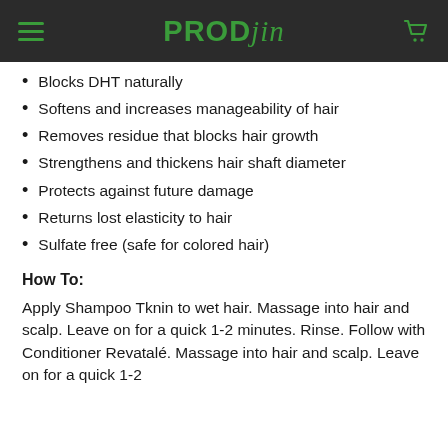PRODjin
Blocks DHT naturally
Softens and increases manageability of hair
Removes residue that blocks hair growth
Strengthens and thickens hair shaft diameter
Protects against future damage
Returns lost elasticity to hair
Sulfate free (safe for colored hair)
How To:
Apply Shampoo Tknin to wet hair. Massage into hair and scalp. Leave on for a quick 1-2 minutes. Rinse. Follow with Conditioner Revatalé. Massage into hair and scalp. Leave on for a quick 1-2